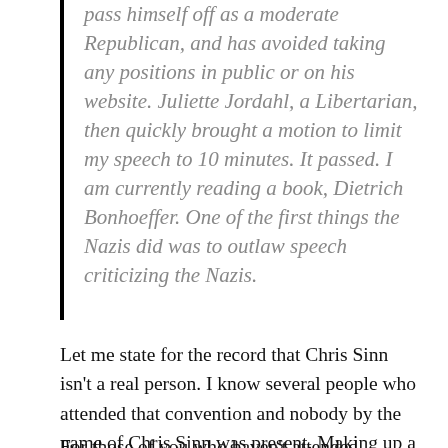pass himself off as a moderate Republican, and has avoided taking any positions in public or on his website. Juliette Jordahl, a Libertarian, then quickly brought a motion to limit my speech to 10 minutes. It passed. I am currently reading a book, Dietrich Bonhoeffer. One of the first things the Nazis did was to outlaw speech criticizing the Nazis.
Let me state for the record that Chris Sinn isn't a real person. I know several people who attended that convention and nobody by the name of Chris Sinn was present. Making up a person is a common mistake made by those who hear voices in their heads.
For those of you who haven't attended political